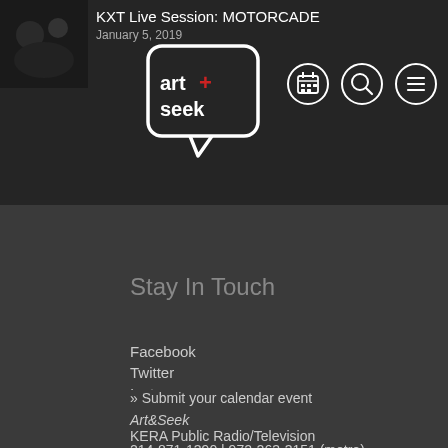KXT Live Session: MOTORCADE
January 5, 2019
[Figure (logo): Art+Seek logo - speech bubble with 'art+seek' text in white on dark background]
[Figure (other): Three circular navigation icons: calendar, search/magnifying glass, hamburger menu]
Stay In Touch
Facebook
Twitter
Instagram
artandseek@kera.org
214-871-1390 | 972-263-3151 (metro)
» Submit your calendar event
Art&Seek
KERA Public Radio/Television